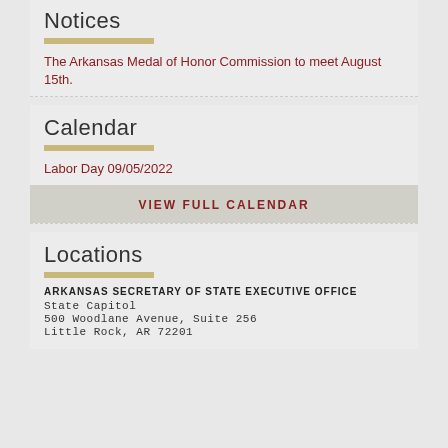Notices
The Arkansas Medal of Honor Commission to meet August 15th.
Calendar
Labor Day 09/05/2022
VIEW FULL CALENDAR
Locations
ARKANSAS SECRETARY OF STATE EXECUTIVE OFFICE
State Capitol
500 Woodlane Avenue, Suite 256
Little Rock, AR 72201